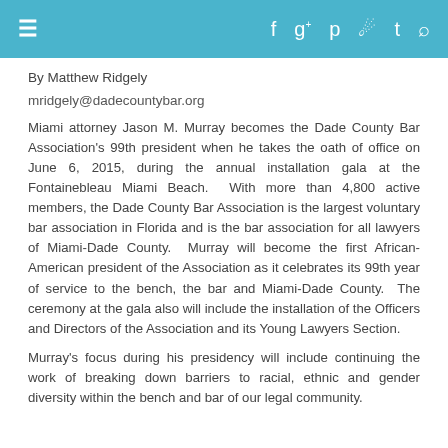≡  f  g+  p  RSS  Twitter  Search
By Matthew Ridgely
mridgely@dadecountybar.org
Miami attorney Jason M. Murray becomes the Dade County Bar Association's 99th president when he takes the oath of office on June 6, 2015, during the annual installation gala at the Fontainebleau Miami Beach. With more than 4,800 active members, the Dade County Bar Association is the largest voluntary bar association in Florida and is the bar association for all lawyers of Miami-Dade County. Murray will become the first African-American president of the Association as it celebrates its 99th year of service to the bench, the bar and Miami-Dade County. The ceremony at the gala also will include the installation of the Officers and Directors of the Association and its Young Lawyers Section.
Murray's focus during his presidency will include continuing the work of breaking down barriers to racial, ethnic and gender diversity within the bench and bar of our legal community.